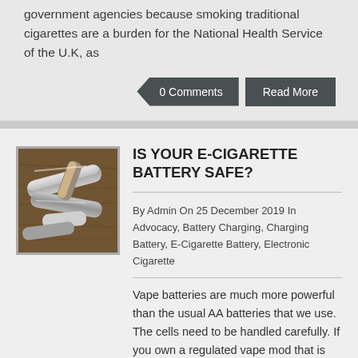government agencies because smoking traditional cigarettes are a burden for the National Health Service of the U.K, as
0 Comments
Read More
IS YOUR E-CIGARETTE BATTERY SAFE?
By Admin On 25 December 2019 In Advocacy, Battery Charging, Charging Battery, E-Cigarette Battery, Electronic Cigarette
[Figure (photo): Photo of e-cigarette components/vape devices scattered on a wooden surface]
Vape batteries are much more powerful than the usual AA batteries that we use. The cells need to be handled carefully. If you own a regulated vape mod that is powered by batteries like the 20700s or